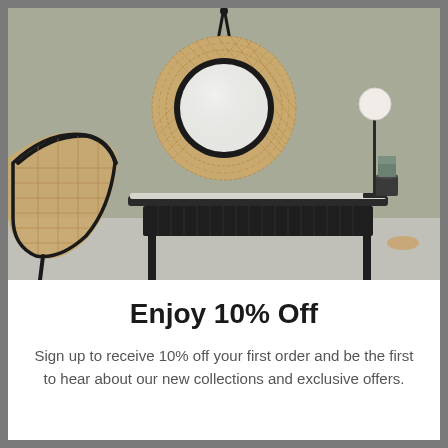[Figure (photo): Interior lifestyle photo showing a round rattan-framed mirror hanging on a sage green wall above a black ribbed console table. A globe table lamp sits on the right side of the table. A rattan and black frame chair is partially visible on the left.]
Enjoy 10% Off
Sign up to receive 10% off your first order and be the first to hear about our new collections and exclusive offers.